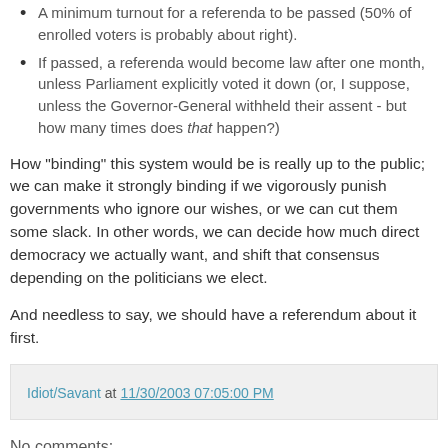A minimum turnout for a referenda to be passed (50% of enrolled voters is probably about right).
If passed, a referenda would become law after one month, unless Parliament explicitly voted it down (or, I suppose, unless the Governor-General withheld their assent - but how many times does that happen?)
How "binding" this system would be is really up to the public; we can make it strongly binding if we vigorously punish governments who ignore our wishes, or we can cut them some slack. In other words, we can decide how much direct democracy we actually want, and shift that consensus depending on the politicians we elect.
And needless to say, we should have a referendum about it first.
Idiot/Savant at 11/30/2003 07:05:00 PM
No comments: